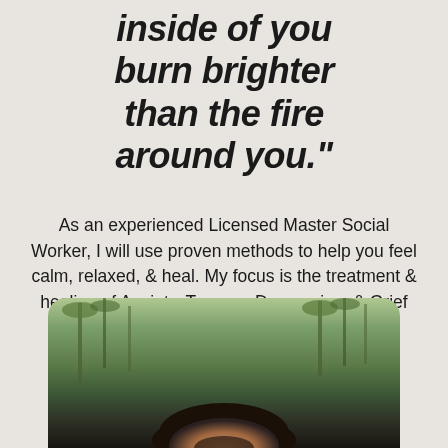inside of you burn brighter than the fire around you."
As an experienced Licensed Master Social Worker, I will use proven methods to help you feel calm, relaxed, & heal. My focus is the treatment & healing of Anxiety, Trauma, Depression, & Grief for adults & teens.
[Figure (photo): Photo of a person outdoors with green trees/bamboo in the background, showing the top of their head with dark hair, partially cropped at the bottom of the page]